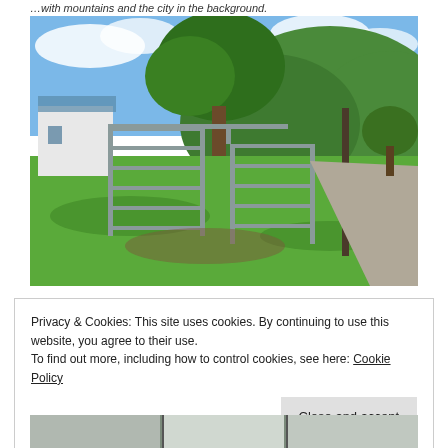...with mountains and the city in the background.
[Figure (photo): Metal livestock gate/fence panels standing on green grass with a white farm building on the left, large green trees, and green forested mountains in the background under a blue sky with clouds. A gravel driveway is visible on the right.]
Privacy & Cookies: This site uses cookies. By continuing to use this website, you agree to their use.
To find out more, including how to control cookies, see here: Cookie Policy
Close and accept
[Figure (photo): Partially visible bottom photo showing farm structures.]